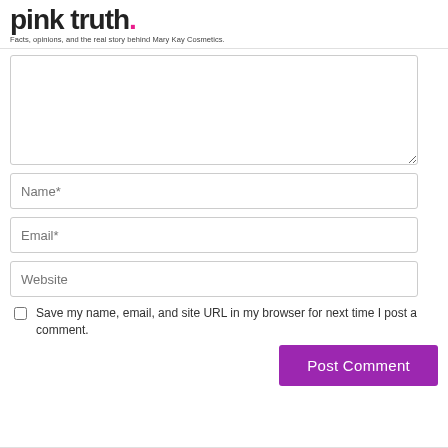Pink Truth. Facts, opinions, and the real story behind Mary Kay Cosmetics.
[Figure (screenshot): Comment form with textarea, Name*, Email*, Website fields, a save checkbox, and Post Comment button]
Save my name, email, and site URL in my browser for next time I post a comment.